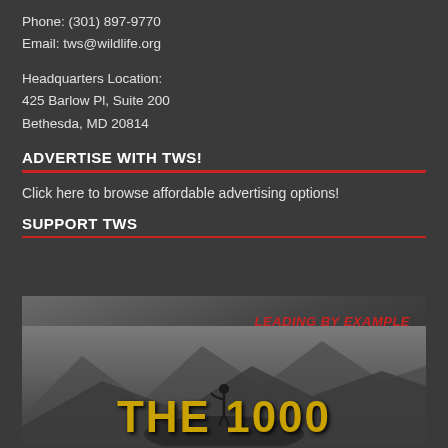Phone: (301) 897-9770
Email: tws@wildlife.org
Headquarters Location:
425 Barlow Pl, Suite 200
Bethesda, MD 20814
ADVERTISE WITH TWS!
Click here to browse affordable advertising options!
SUPPORT TWS
[Figure (illustration): Promotional image with a silhouette of a person on a hilltop, text 'LEADING BY EXAMPLE' in red italic, and large gold text 'THE 1000' at the bottom]